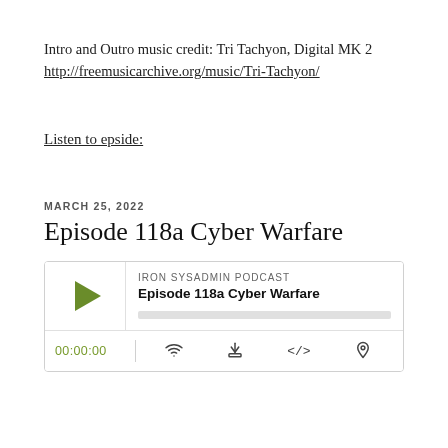Intro and Outro music credit: Tri Tachyon, Digital MK 2
http://freemusicarchive.org/music/Tri-Tachyon/
Listen to epside:
MARCH 25, 2022
Episode 118a Cyber Warfare
[Figure (screenshot): Podcast player widget for 'Episode 118a Cyber Warfare' on Iron Sysadmin Podcast. Shows play button (green triangle), episode title, progress bar, time display 00:00:00, and control icons for RSS, download, embed, and share.]